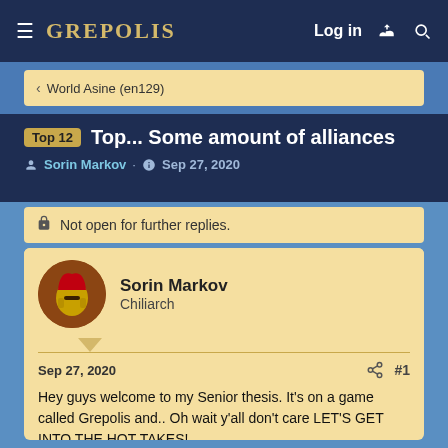GREPOLIS  Log in
< World Asine (en129)
Top 12  Top... Some amount of alliances
Sorin Markov · Sep 27, 2020
Not open for further replies.
Sorin Markov
Chiliarch
Sep 27, 2020  #1
Hey guys welcome to my Senior thesis. It's on a game called Grepolis and.. Oh wait y'all don't care LET'S GET INTO THE HOT TAKES!
[Figure (screenshot): Partial image of a chart or graph visible at the bottom of the post]